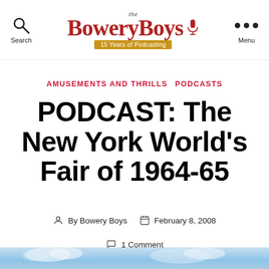the Bowery Boys | 15 Years of Podcasting
AMUSEMENTS AND THRILLS  PODCASTS
PODCAST: The New York World's Fair of 1964-65
By Bowery Boys  February 8, 2008
1 Comment